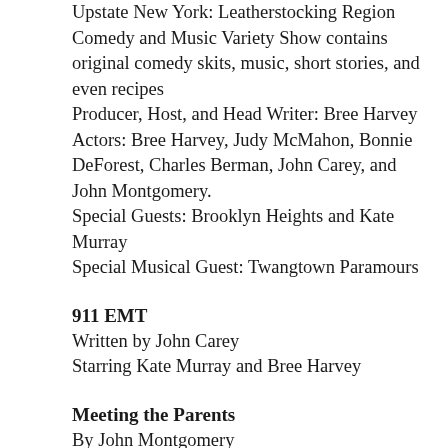Upstate New York: Leatherstocking Region Comedy and Music Variety Show contains original comedy skits, music, short stories, and even recipes
Producer, Host, and Head Writer:  Bree Harvey
Actors:  Bree Harvey, Judy McMahon, Bonnie DeForest, Charles Berman, John Carey, and John Montgomery.
Special Guests:  Brooklyn Heights and Kate Murray
Special Musical Guest:  Twangtown Paramours
911 EMT
Written by John Carey
Starring Kate Murray and Bree Harvey
Meeting the Parents
By John Montgomery
Starring:  Kate Murray, John Carey, John